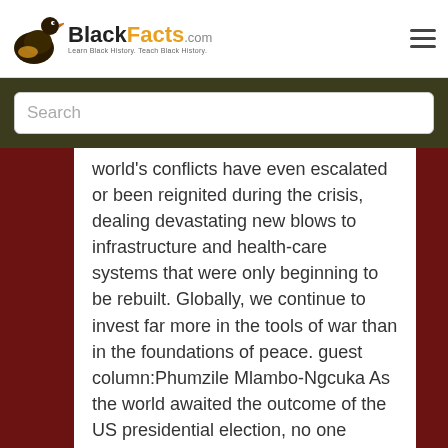BlackFacts.com — Learn Black History. Teach Black History.
Search
world's conflicts have even escalated or been reignited during the crisis, dealing devastating new blows to infrastructure and health-care systems that were only beginning to be rebuilt. Globally, we continue to invest far more in the tools of war than in the foundations of peace. guest column:Phumzile Mlambo-Ngcuka As the world awaited the outcome of the US presidential election, no one doubted the stakes. But, even if Joe Biden emerged victorious,